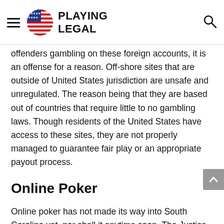Playing Legal
offenders gambling on these foreign accounts, it is an offense for a reason. Off-shore sites that are outside of United States jurisdiction are unsafe and unregulated. The reason being that they are based out of countries that require little to no gambling laws. Though residents of the United States have access to these sites, they are not properly managed to guarantee fair play or an appropriate payout process.
Online Poker
Online poker has not made its way into South Carolina yet, nor shall it anytime soon. The Justice Department's ruling on the Wire Act in 1961 set forth new efforts from